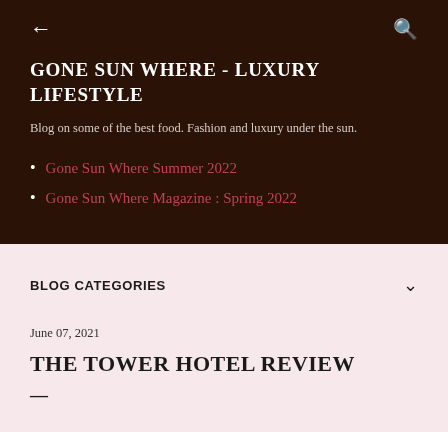← GONE SUN WHERE - LUXURY LIFESTYLE
Blog on some of the best food. Fashion and luxury under the sun.
Gone Sun Where Summer 2022
Gone Sun Where Magazine : Spring 2022
BLOG CATEGORIES
June 07, 2021
THE TOWER HOTEL REVIEW
—